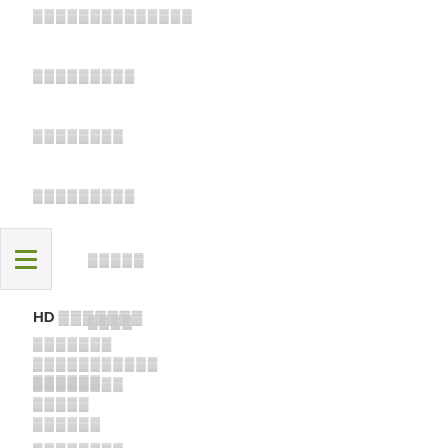▓▓▓▓▓▓▓▓▓▓▓▓▓▓
▓▓▓▓▓▓▓▓▓
▓▓▓▓▓▓▓▓
▓▓▓▓▓▓▓▓▓
▓▓▓▓▓
▓▓▓▓
▓▓▓▓▓▓
▓▓▓▓▓▓▓▓
[Figure (other): Hamburger menu icon with three horizontal olive/green lines on a light gray background]
HD ▓▓▓▓▓▓▓
▓▓▓▓▓▓▓
▓▓▓▓▓▓▓▓▓▓▓
▓▓▓▓▓▓▓▓
▓▓▓▓▓
▓▓▓▓▓▓